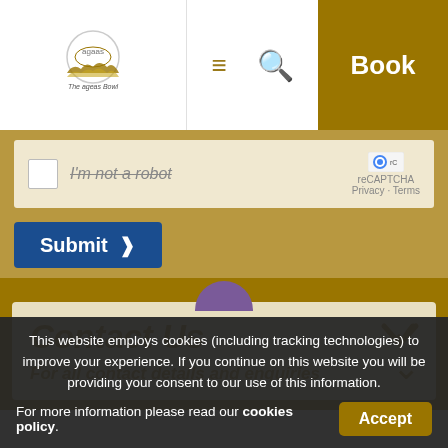[Figure (logo): The ageas Bowl logo with circular emblem and text]
I'm not a robot
reCAPTCHA Privacy · Terms
Submit >
Contact Us
For all contact details and enquiries
This website employs cookies (including tracking technologies) to improve your experience. If you continue on this website you will be providing your consent to our use of this information.
For more information please read our cookies policy.
Accept